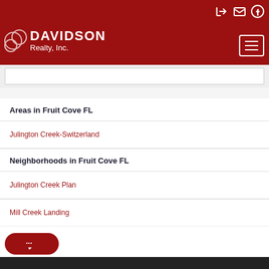Davidson Realty, Inc.
Areas in Fruit Cove FL
Julington Creek-Switzerland
Neighborhoods in Fruit Cove FL
Julington Creek Plan
Mill Creek Landing